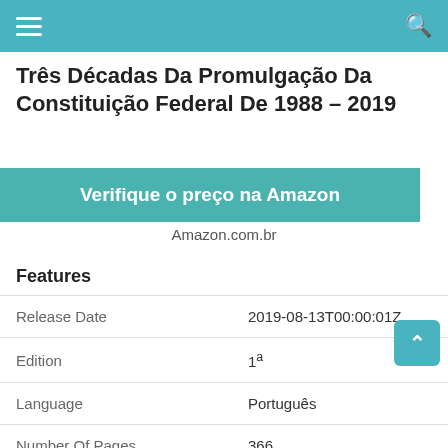≡  [hamburger menu]  [search icon]
Três Décadas Da Promulgação Da Constituição Federal De 1988 – 2019
Verifique o preço na Amazon
Amazon.com.br
Features
|  |  |
| --- | --- |
| Release Date | 2019-08-13T00:00:01Z |
| Edition | 1ª |
| Language | Português |
| Number Of Pages | 366 |
| Publication Date | 2019-08-13T00:00:01Z |